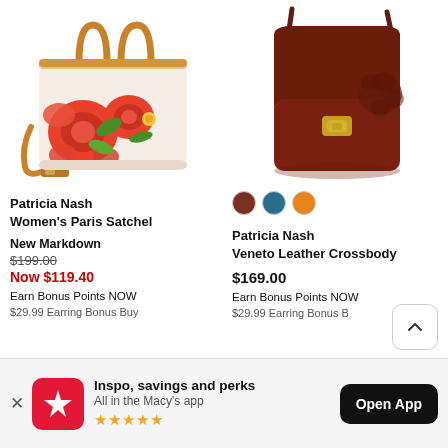[Figure (photo): Patricia Nash Women's Paris Satchel — cream handbag with painted red roses and green leaves, tan leather handles and strap]
[Figure (photo): Patricia Nash Veneto Leather Crossbody — dark brown leather crossbody bag with floral embossing and gold clasp, long strap]
Patricia Nash Women's Paris Satchel
New Markdown
$199.00
Now $119.40
Earn Bonus Points NOW
$29.99 Earring Bonus Buy
[Figure (other): Color swatches: brown, teal, orange]
Patricia Nash Veneto Leather Crossbody
$169.00
Earn Bonus Points NOW
$29.99 Earring Bonus B
Inspo, savings and perks
All in the Macy's app
★★★★★
Open App